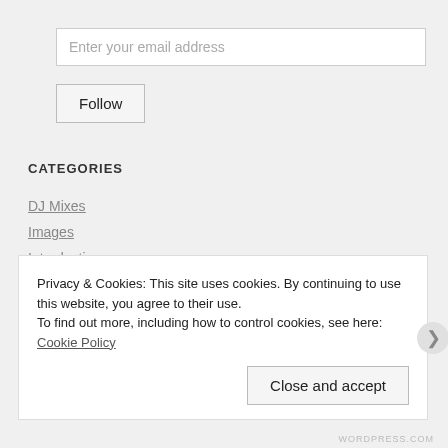Enter your email address
Follow
CATEGORIES
DJ Mixes
Images
Introduction
Music
Privacy & Cookies: This site uses cookies. By continuing to use this website, you agree to their use.
To find out more, including how to control cookies, see here: Cookie Policy
Close and accept